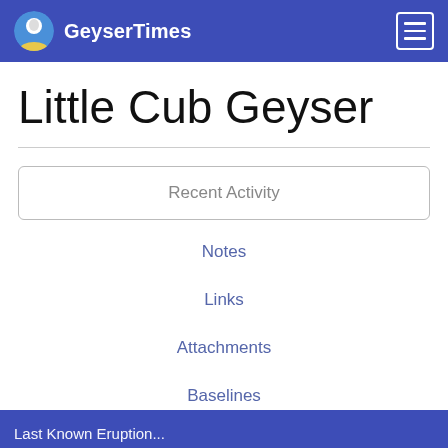GeyserTimes
Little Cub Geyser
Recent Activity
Notes
Links
Attachments
Baselines